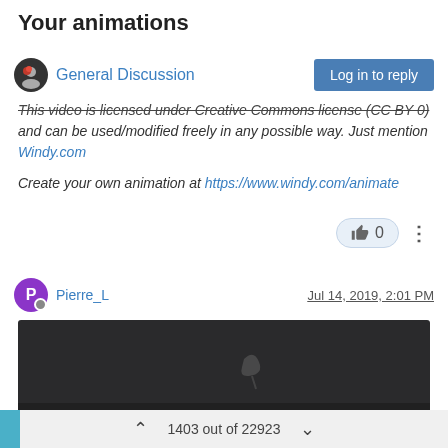Your animations
General Discussion
This video is licensed under Creative Commons license (CC BY 0) and can be used/modified freely in any possible way. Just mention Windy.com

Create your own animation at https://www.windy.com/animate
0  (like count)
Pierre_L   Jul 14, 2019, 2:01 PM
[Figure (screenshot): Embedded video player showing a dark frame with playback controls at the bottom: play button, timestamp 0:00, mute icon, fullscreen icon, and more options icon.]
1403 out of 22923